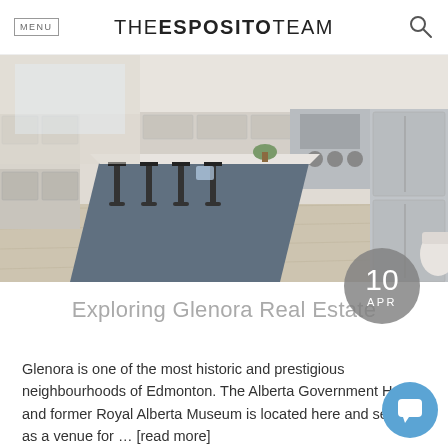MENU  THE ESPOSITO TEAM
[Figure (photo): Interior photo of a modern kitchen with a blue island, black bar stools, white cabinets, stainless steel appliances, and light hardwood floors.]
10 APR
Exploring Glenora Real Estate
Glenora is one of the most historic and prestigious neighbourhoods of Edmonton. The Alberta Government House and former Royal Alberta Museum is located here and serves as a venue for … [read more]